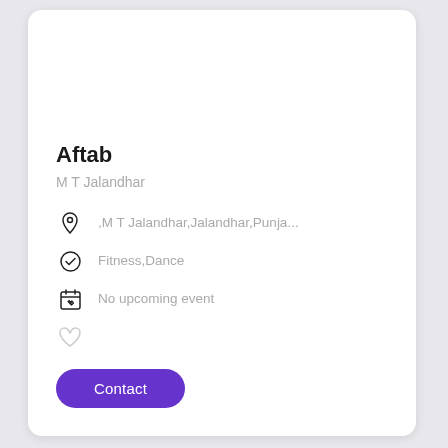Aftab
M T Jalandhar
,M T Jalandhar,Jalandhar,Punja...
Fitness,Dance
No upcoming event
[Figure (illustration): Heart/favorite icon (outline)]
Contact